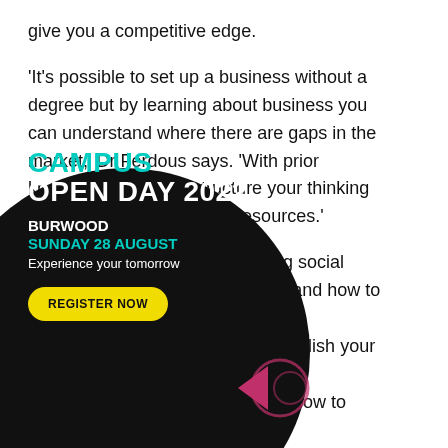give you a competitive edge.
'It's possible to set up a business without a degree but by learning about business you can understand where there are gaps in the market,' Dr Ferdous says. 'With prior knowledge, you can structure your thinking and better assemble your resources.'
You'll need to learn about gaining social capital (networking), outsourcing and how to attract ...ll help you establish your ...time. 'Studying ...istic picture of how to ...s says.
[Figure (infographic): Black circular Campus Open Day 2022 advertisement overlay. Text: CAMPUS OPEN DAY 2022 / BURWOOD / SUNDAY 28 AUGUST / Experience your tomorrow / REGISTER NOW button in yellow. Decorative pink arrow and circle graphic.]